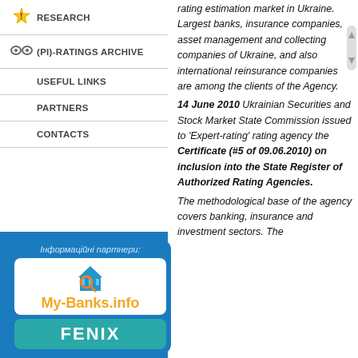RESEARCH
(PI)-RATINGS ARCHIVE
USEFUL LINKS
PARTNERS
CONTACTS
Інформаційні партнери:
[Figure (logo): My-Banks.info logo with magnifying glass and bank building icon in blue and orange]
[Figure (logo): FENIX logo on teal background]
rating estimation market in Ukraine. Largest banks, insurance companies, asset management and collecting companies of Ukraine, and also international reinsurance companies are among the clients of the Agency.
14 June 2010 Ukrainian Securities and Stock Market State Commission issued to 'Expert-rating' rating agency the Certificate (#5 of 09.06.2010) on inclusion into the State Register of Authorized Rating Agencies.
The methodological base of the agency covers banking, insurance and investment sectors. The